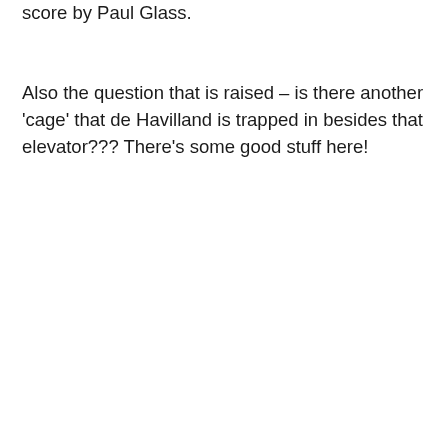score by Paul Glass.
Also the question that is raised – is there another 'cage' that de Havilland is trapped in besides that elevator??? There's some good stuff here!